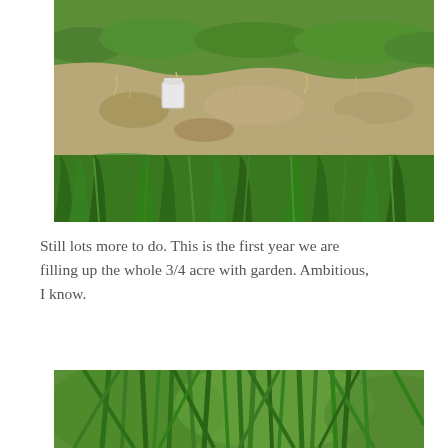[Figure (photo): Outdoor garden plot showing a large area of bare dirt and disturbed soil with some dry grass/straw, surrounded by green grass. A white plastic bucket is visible in the middle-left area of the plot.]
Still lots more to do.  This is the first year we are filling up the whole 3/4 acre with garden.  Ambitious, I know.
[Figure (photo): Close-up photo of green plant stems/stalks, possibly asparagus or similar thin green vegetable shoots, against a blurred green background.]